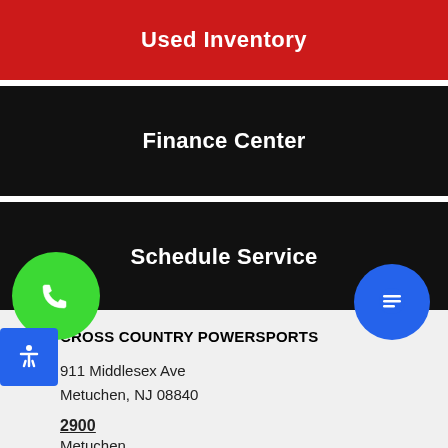Used Inventory
Finance Center
Schedule Service
CROSS COUNTRY POWERSPORTS
911 Middlesex Ave
Metuchen, NJ 08840
2900
Metuchen
732.462.4881